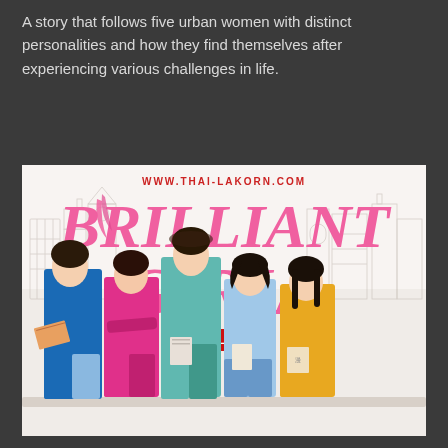A story that follows five urban women with distinct personalities and how they find themselves after experiencing various challenges in life.
[Figure (photo): Promotional poster for 'Brilliant Girls' TV show. Shows five women sitting in colorful outfits (blue, pink, teal, light blue, yellow) against a white city sketch background. Large pink italic text reads 'BRILLIANT GIRLS'. Red URL 'WWW.THAI-LAKORN.COM' at top. Red 'X CLOSE' button overlay in center.]